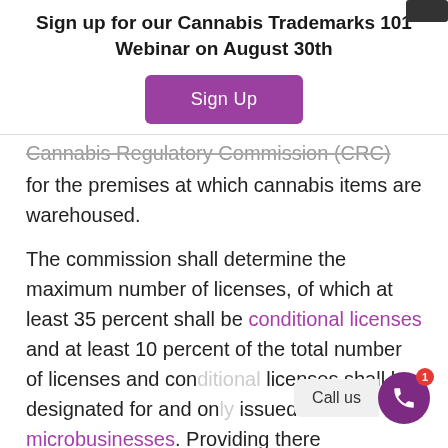Sign up for our Cannabis Trademarks 101 Webinar on August 30th
[Figure (other): Purple 'Sign Up' button]
Cannabis Regulatory Commission (CRC) for the premises at which cannabis items are warehoused.
The commission shall determine the maximum number of licenses, of which at least 35 percent shall be conditional licenses and at least 10 percent of the total number of licenses and conditional licenses shall be designated for and only issued to microbusinesses. Providing there
[Figure (other): Call us button with phone icon and notification badge]